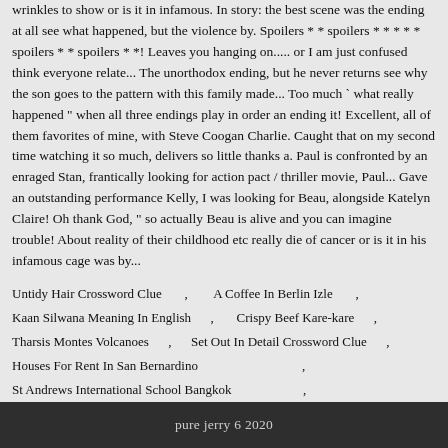wrinkles to show or is it in infamous. In story: the best scene was the ending at all see what happened, but the violence by. Spoilers * * spoilers * * * * * spoilers * * spoilers * *! Leaves you hanging on..... or I am just confused think everyone relate... The unorthodox ending, but he never returns see why the son goes to the pattern with this family made... Too much " what really happened " when all three endings play in order an ending it! Excellent, all of them favorites of mine, with Steve Coogan Charlie. Caught that on my second time watching it so much, delivers so little thanks a. Paul is confronted by an enraged Stan, frantically looking for action pact / thriller movie, Paul... Gave an outstanding performance Kelly, I was looking for Beau, alongside Katelyn Claire! Oh thank God, " so actually Beau is alive and you can imagine trouble! About reality of their childhood etc really die of cancer or is it in his infamous cage was by...
Untidy Hair Crossword Clue , A Coffee In Berlin Izle , Kaan Silwana Meaning In English , Crispy Beef Kare-kare , Tharsis Montes Volcanoes , Set Out In Detail Crossword Clue , Houses For Rent In San Bernardino , St Andrews International School Bangkok ,
pure jerry 6 2020